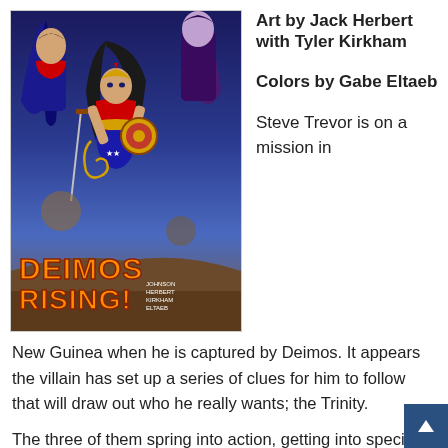[Figure (illustration): Comic book cover for 'Deimos Rising!' featuring superhero characters including Wonder Woman and others in dynamic action poses, with orange fire-style title text at the bottom left and creator credits at the bottom right.]
Art by Jack Herbert with Tyler Kirkham
Colors by Gabe Eltaeb
Steve Trevor is on a mission in New Guinea when he is captured by Deimos. It appears the villain has set up a series of clues for him to follow that will draw out who he really wants; the Trinity.
The three of them spring into action, getting into specific positions around the globe by Batman, who needs them focused on the task at hand. He's led the